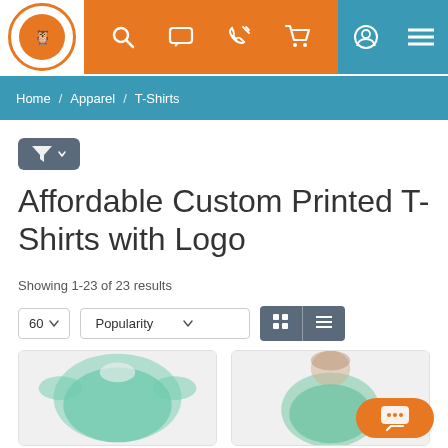Logo / Nav bar with search, chat, phone, cart icons
Home / Apparel / T-Shirts
[Figure (other): Filter button with funnel icon]
Affordable Custom Printed T-Shirts with Logo
Showing 1-23 of 23 results
60 | Popularity | Grid/List view toggle
[Figure (photo): Two product photos of green t-shirts]
[Figure (other): Chat bubble button bottom right]